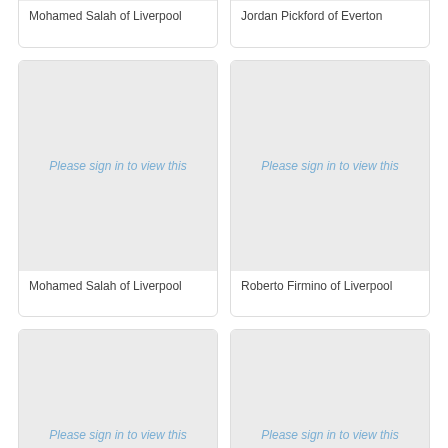[Figure (photo): Mohamed Salah of Liverpool - image placeholder (top, cropped)]
[Figure (photo): Jordan Pickford of Everton - image placeholder (top, cropped)]
Mohamed Salah of Liverpool
Jordan Pickford of Everton
[Figure (photo): Mohamed Salah of Liverpool - Please sign in to view this]
[Figure (photo): Roberto Firmino of Liverpool - Please sign in to view this]
Mohamed Salah of Liverpool
Roberto Firmino of Liverpool
[Figure (photo): Image placeholder - Please sign in to view this (bottom left, partial)]
[Figure (photo): Image placeholder - Please sign in to view this (bottom right, partial)]